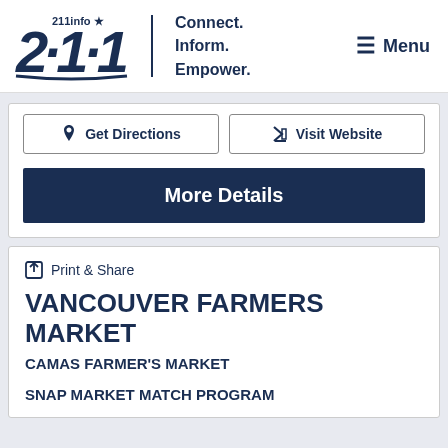[Figure (logo): 211info logo with star and tagline Connect. Inform. Empower. and Menu button]
Get Directions
Visit Website
More Details
Print & Share
VANCOUVER FARMERS MARKET
CAMAS FARMER'S MARKET
SNAP MARKET MATCH PROGRAM